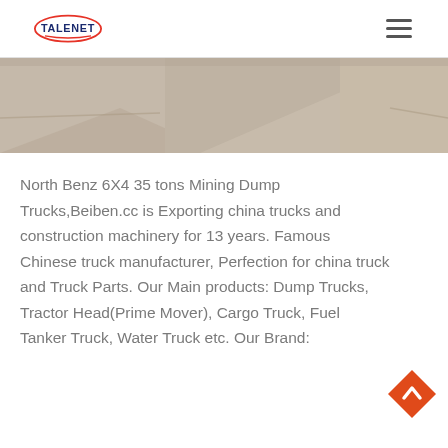TALENET
[Figure (photo): Partial view of mining dump trucks or heavy construction vehicles, cropped image strip showing the top portion of vehicles against a light background]
North Benz 6X4 35 tons Mining Dump Trucks,Beiben.cc is Exporting china trucks and construction machinery for 13 years. Famous Chinese truck manufacturer, Perfection for china truck and Truck Parts. Our Main products: Dump Trucks, Tractor Head(Prime Mover), Cargo Truck, Fuel Tanker Truck, Water Truck etc. Our Brand: